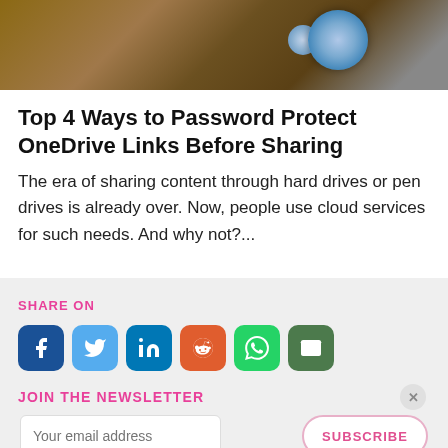[Figure (photo): Photo of earbuds/headphones on a wooden surface, with blue earbuds visible against a brown wood grain background]
Top 4 Ways to Password Protect OneDrive Links Before Sharing
The era of sharing content through hard drives or pen drives is already over. Now, people use cloud services for such needs. And why not?...
SHARE ON
[Figure (infographic): Social share buttons: Facebook, Twitter, LinkedIn, Reddit, WhatsApp, Email]
JOIN THE NEWSLETTER
Your email address
SUBSCRIBE